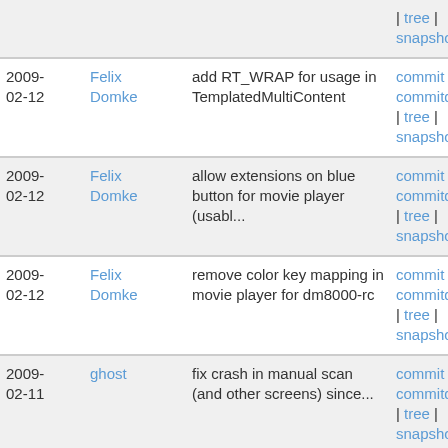| Date | Author | Message | Links |
| --- | --- | --- | --- |
|  |  |  | | tree | snapshot |
| 2009-02-12 | Felix Domke | add RT_WRAP for usage in TemplatedMultiContent | commit | commitdiff | tree | snapshot |
| 2009-02-12 | Felix Domke | allow extensions on blue button for movie player (usabl... | commit | commitdiff | tree | snapshot |
| 2009-02-12 | Felix Domke | remove color key mapping in movie player for dm8000-rc | commit | commitdiff | tree | snapshot |
| 2009-02-11 | ghost | fix crash in manual scan (and other screens) since... | commit | commitdiff | tree | snapshot |